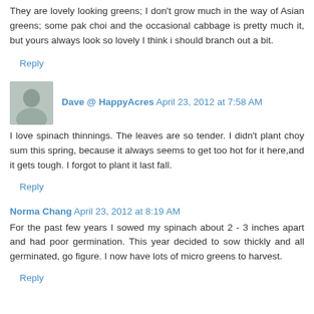They are lovely looking greens; I don't grow much in the way of Asian greens; some pak choi and the occasional cabbage is pretty much it, but yours always look so lovely I think i should branch out a bit.
Reply
Dave @ HappyAcres  April 23, 2012 at 7:58 AM
I love spinach thinnings. The leaves are so tender. I didn't plant choy sum this spring, because it always seems to get too hot for it here,and it gets tough. I forgot to plant it last fall.
Reply
Norma Chang  April 23, 2012 at 8:19 AM
For the past few years I sowed my spinach about 2 - 3 inches apart and had poor germination. This year decided to sow thickly and all germinated, go figure. I now have lots of micro greens to harvest.
Reply